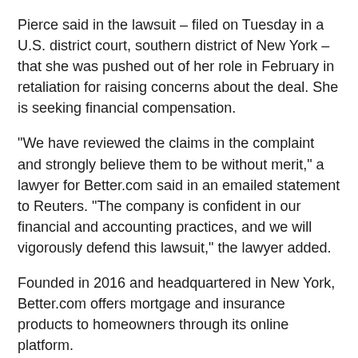Pierce said in the lawsuit – filed on Tuesday in a U.S. district court, southern district of New York – that she was pushed out of her role in February in retaliation for raising concerns about the deal. She is seeking financial compensation.
“We have reviewed the claims in the complaint and strongly believe them to be without merit,” a lawyer for Better.com said in an emailed statement to Reuters. “The company is confident in our financial and accounting practices, and we will vigorously defend this lawsuit,” the lawyer added.
Founded in 2016 and headquartered in New York, Better.com offers mortgage and insurance products to homeowners through its online platform.
Last year, Garg had to apologize for his manner of handling layoffs after a video of him firing 900 employees over a Zoom call went viral on social media.
(Reporting by Sneha Bhowmik in Bengaluru; Additional